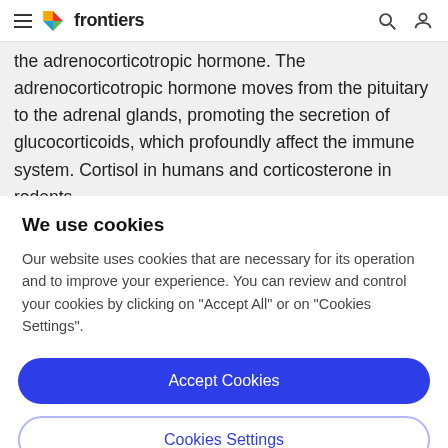frontiers
the adrenocorticotropic hormone. The adrenocorticotropic hormone moves from the pituitary to the adrenal glands, promoting the secretion of glucocorticoids, which profoundly affect the immune system. Cortisol in humans and corticosterone in rodents
We use cookies
Our website uses cookies that are necessary for its operation and to improve your experience. You can review and control your cookies by clicking on "Accept All" or on "Cookies Settings".
Accept Cookies
Cookies Settings